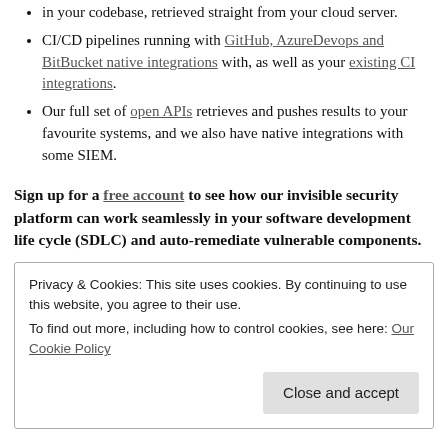in your codebase, retrieved straight from your cloud server.
CI/CD pipelines running with GitHub, AzureDevops and BitBucket native integrations with, as well as your existing CI integrations.
Our full set of open APIs retrieves and pushes results to your favourite systems, and we also have native integrations with some SIEM.
Sign up for a free account to see how our invisible security platform can work seamlessly in your software development life cycle (SDLC) and auto-remediate vulnerable components.
Privacy & Cookies: This site uses cookies. By continuing to use this website, you agree to their use.
To find out more, including how to control cookies, see here: Our Cookie Policy